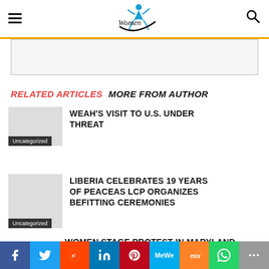Women Voice (logo)
[Figure (other): Advertisement banner placeholder]
RELATED ARTICLES   MORE FROM AUTHOR
WEAH'S VISIT TO U.S. UNDER THREAT
Uncategorized
LIBERIA CELEBRATES 19 YEARS OF PEACEAS LCP ORGANIZES BEFITTING CEREMONIES
Uncategorized
WOMEN STAGE PROTEST IN MARYLAND
Facebook Twitter Reddit LinkedIn Pinterest MeWe Mix WhatsApp More